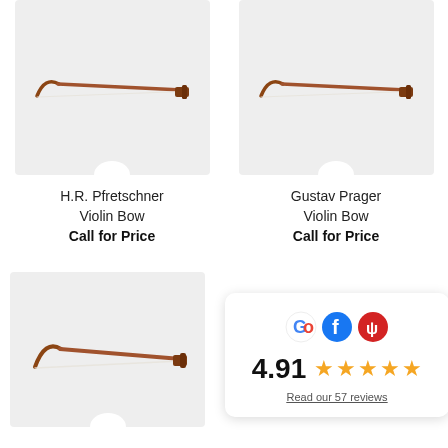[Figure (photo): H.R. Pfretschner violin bow on light grey background]
H.R. Pfretschner
Violin Bow
Call for Price
[Figure (photo): Gustav Prager violin bow on light grey background]
Gustav Prager
Violin Bow
Call for Price
[Figure (photo): Violin bow on light grey background (third product)]
[Figure (infographic): Review widget showing Google, Facebook, Yelp logos, rating 4.91 with 5 stars, and link to read 57 reviews]